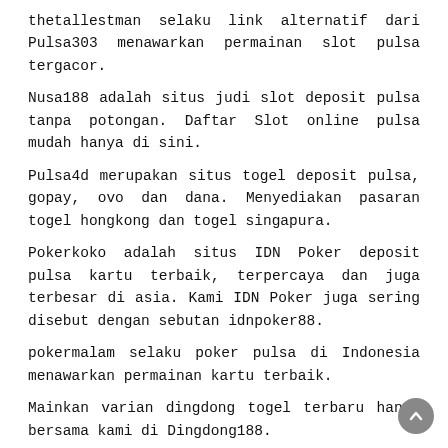thetallestman selaku link alternatif dari Pulsa303 menawarkan permainan slot pulsa tergacor.
Nusa188 adalah situs judi slot deposit pulsa tanpa potongan. Daftar Slot online pulsa mudah hanya di sini.
Pulsa4d merupakan situs togel deposit pulsa, gopay, ovo dan dana. Menyediakan pasaran togel hongkong dan togel singapura.
Pokerkoko adalah situs IDN Poker deposit pulsa kartu terbaik, terpercaya dan juga terbesar di asia. Kami IDN Poker juga sering disebut dengan sebutan idnpoker88.
pokermalam selaku poker pulsa di Indonesia menawarkan permainan kartu terbaik.
Mainkan varian dingdong togel terbaru hanya bersama kami di Dingdong188.
PULSA303 terkenal sebagai situs slot deposit pulsa, gopay, ovo, dan dana dengan minimal deposit hanya 10rb rupiah saja.
KOKO303 yang notabene merupakan situs judi paling booming di tahun 2021 dengan slot online gampang menang.